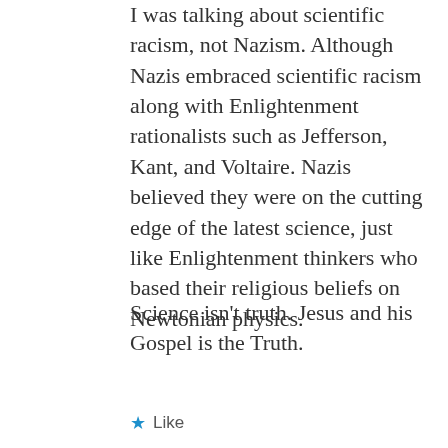I was talking about scientific racism, not Nazism. Although Nazis embraced scientific racism along with Enlightenment rationalists such as Jefferson, Kant, and Voltaire. Nazis believed they were on the cutting edge of the latest science, just like Enlightenment thinkers who based their religious beliefs on Newtonian physics.
Science isn't truth. Jesus and his Gospel is the Truth.
Like
john zande
January 13, 2014 at 10:57 am
I think I asked you before, but as far as I